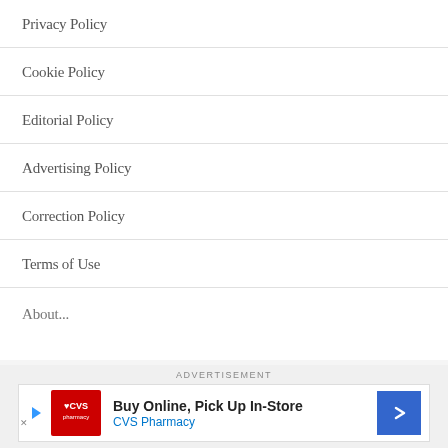Privacy Policy
Cookie Policy
Editorial Policy
Advertising Policy
Correction Policy
Terms of Use
About...
[Figure (other): CVS Pharmacy advertisement banner: 'Buy Online, Pick Up In-Store / CVS Pharmacy' with CVS logo and navigation arrow icon. Labeled ADVERTISEMENT above.]